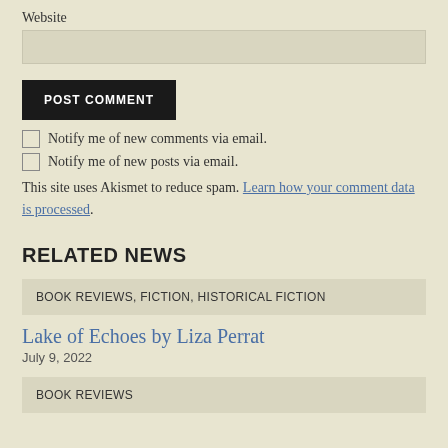Website
POST COMMENT
Notify me of new comments via email.
Notify me of new posts via email.
This site uses Akismet to reduce spam. Learn how your comment data is processed.
RELATED NEWS
BOOK REVIEWS, FICTION, HISTORICAL FICTION
Lake of Echoes by Liza Perrat
July 9, 2022
BOOK REVIEWS